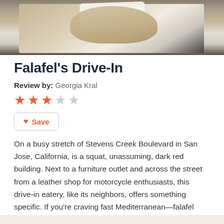[Figure (photo): Photo of falafel/pita sandwich wrapped in paper, viewed from above, partially cropped at top of page]
Falafel's Drive-In
Review by: Georgia Kral
[Figure (other): 3 out of 5 stars rating using orange filled stars and grey empty stars]
Save
On a busy stretch of Stevens Creek Boulevard in San Jose, California, is a squat, unassuming, dark red building. Next to a furniture outlet and across the street from a leather shop for motorcycle enthusiasts, this drive-in eatery, like its neighbors, offers something specific. If you're craving fast Mediterranean—falafel sandwiches, gyros, hummus, pita—Falafel's Drive-In is where it's at.